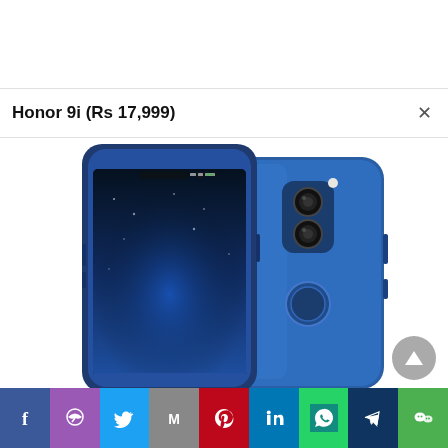Honor 9i (Rs 17,999)
[Figure (photo): Honor 9i smartphone shown from two angles: front view showing a blue smartphone with near-bezel-less display, and rear view showing dual camera module and fingerprint sensor in blue color.]
[Figure (infographic): Social media share bar with icons: Facebook, Messenger, Twitter, Gmail/Email, Pinterest, LinkedIn, WhatsApp, Telegram, WeChat]